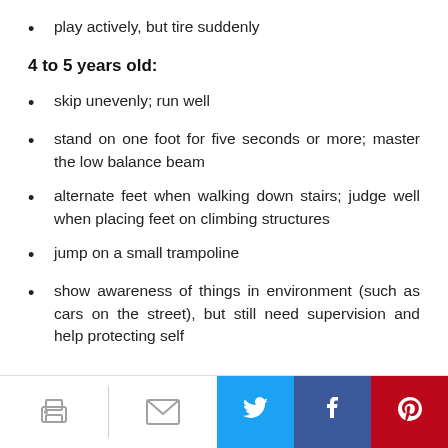play actively, but tire suddenly
4 to 5 years old:
skip unevenly; run well
stand on one foot for five seconds or more; master the low balance beam
alternate feet when walking down stairs; judge well when placing feet on climbing structures
jump on a small trampoline
show awareness of things in environment (such as cars on the street), but still need supervision and help protecting self
Print | Email | Twitter | Facebook | Pinterest